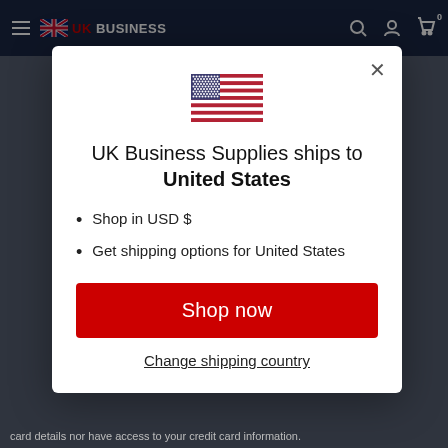UK BUSINESS
[Figure (screenshot): US flag icon inside modal]
UK Business Supplies ships to United States
Shop in USD $
Get shipping options for United States
Shop now
Change shipping country
card details nor have access to your credit card information.